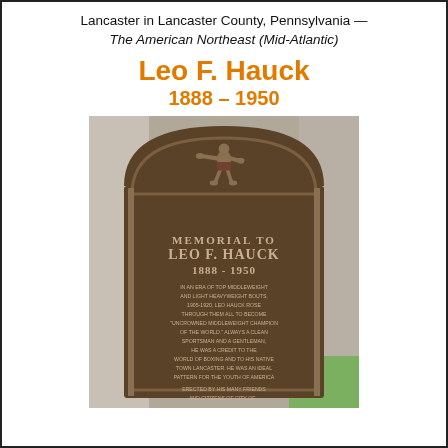Lancaster in Lancaster County, Pennsylvania — The American Northeast (Mid-Atlantic)
Leo F. Hauck
1888 – 1950
[Figure (photo): Bronze memorial plaque for Leo F. Hauck (1888-1950) showing a boxer in fighting stance at the top, with text reading 'MEMORIAL TO LEO F. HAUCK 1888-1950' and inscription about his boxing career as uncrowned middleweight champion of the world, erected by friends.]